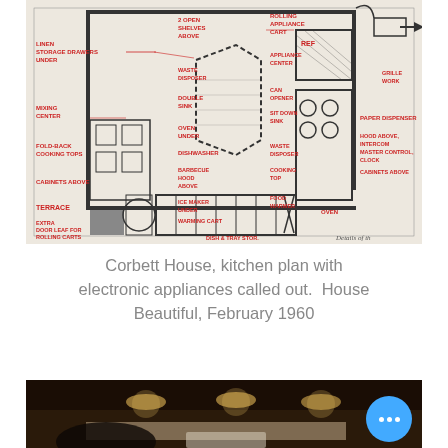[Figure (engineering-diagram): Corbett House kitchen floor plan with electronic appliances called out in red text. Labels include: LINEN STORAGE DRAWERS UNDER, 2 OPEN SHELVES ABOVE, ROLLING APPLIANCE CART, APPLIANCE CENTER, REF, WASTE DISPOSER, DOUBLE SINK, CAN OPENER, SIT DOWN SINK, MIXING CENTER, OVEN UNDER, DISHWASHER, WASTE DISPOSER, FOLD-BACK COOKING TOPS, BARBECUE HOOD ABOVE, COOKING TOP, CABINETS ABOVE, TERRACE, ICE MAKER UNDER, FOOD WARMER, OVEN, WARMING CART, EXTRA DOOR LEAF FOR ROLLING CARTS, DISH & TRAY STOR., PAPER DISPENSER, HOOD ABOVE INTERCOM MASTER CONTROL CLOCK, CABINETS ABOVE, GRILLE WORK. Caption: Details of th]
Corbett House, kitchen plan with electronic appliances called out.  House Beautiful, February 1960
[Figure (photo): Interior photograph showing a dark ceiling with recessed lighting spots and what appears to be a countertop or surface below. Bottom portion of a room interior, dark tones with light fixtures.]